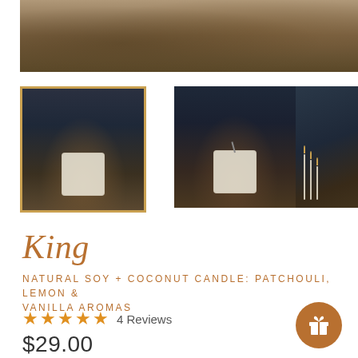[Figure (photo): Top partial product photo showing blurred brown/tan background, top portion cut off]
[Figure (photo): Thumbnail of a single white soy candle in a glass on a wooden table against dark background, with gold border]
[Figure (photo): Thumbnail of a single white soy candle with smoke/wick on a dark background]
[Figure (photo): Thumbnail of multiple white soy candle jars with gold lids stacked on dark background]
King
NATURAL SOY + COCONUT CANDLE: PATCHOULI, LEMON & VANILLA AROMAS
★★★★★ 4 Reviews
$29.00